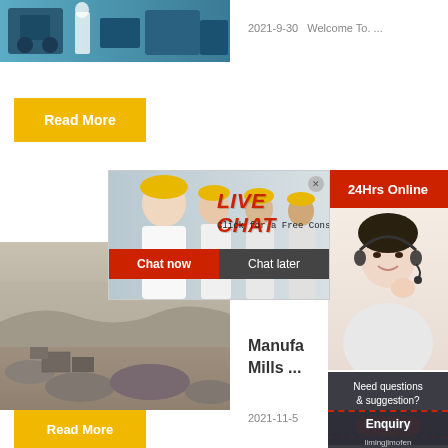[Figure (photo): Industrial machinery with workers in blue factory setting]
2021-9-30   Welcome To. ...
Read More
[Figure (screenshot): Live chat popup overlay with construction workers photo, LIVE CHAT heading in red italic, Click for a Free Consultation text, Chat now and Chat later buttons]
24Hrs Online
[Figure (photo): Customer support agent woman with headset smiling]
[Figure (photo): Quarry mining site with grey stones and rubble]
Manufa
Mills ...
2021-11-5
Need questions & suggestion?
Chat Now
Enquiry
limingjlmofen
Read More